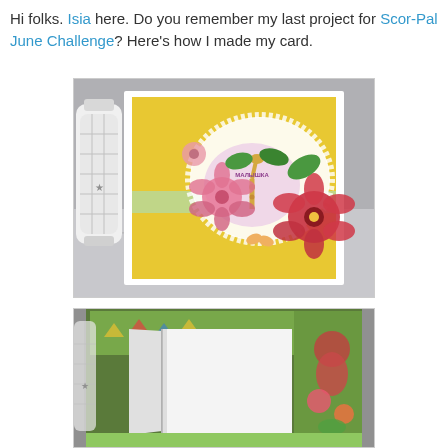Hi folks. Isia here. Do you remember my last project for Scor-Pal June Challenge? Here's how I made my card.
[Figure (photo): A handmade greeting card with a yellow background decorated with a white lace doily, tropical flowers (pink and red hibiscus, green leaves), and a circular center element with a giraffe and text 'MALLIKA'. A white decorative lantern is visible on the left. A green strip runs horizontally across the card.]
[Figure (photo): The interior/inside of the handmade card opened up, showing green patterned paper on the outside panels and white card stock panels inside, creating an accordion or gate-fold style construction. A decorative lantern is partially visible on the left.]